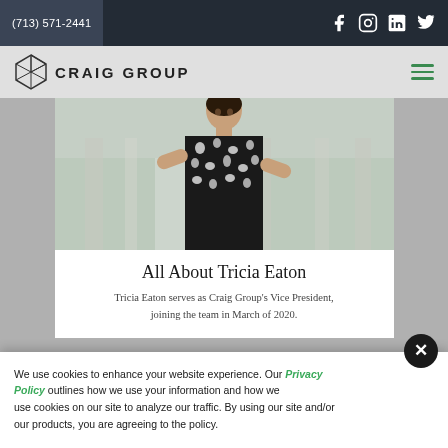(713) 571-2441
[Figure (logo): Craig Group logo with geometric polyhedron icon and text CRAIG GROUP]
[Figure (photo): Portrait photo of Tricia Eaton wearing a black and white patterned dress, posed outdoors]
All About Tricia Eaton
Tricia Eaton serves as Craig Group's Vice President, joining the team in March of 2020.
We use cookies to enhance your website experience. Our Privacy Policy outlines how we use your information and how we use cookies on our site to analyze our traffic. By using our site and/or our products, you are agreeing to the policy.